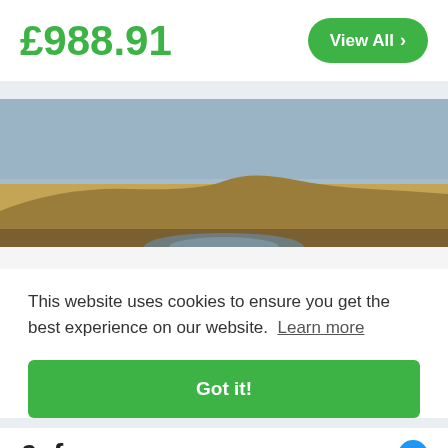£988.91
View All >
[Figure (photo): Outdoor desert/dry landscape photo showing a sandy hill or dune under a grey-blue sky, with a car hood visible at the bottom edge.]
This website uses cookies to ensure you get the best experience on our website. Learn more
Got it!
£ from